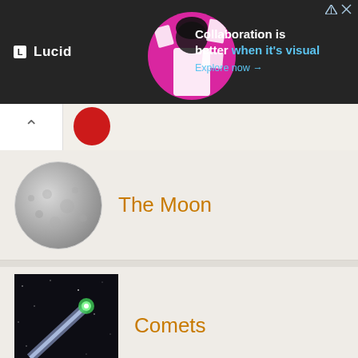[Figure (screenshot): Advertisement banner for Lucid: dark background with logo, woman with diagrams, text 'Collaboration is better when it's visual', 'Explore now →']
[Figure (illustration): Navigation bar with back chevron and partial red circular icon]
The Moon
Comets
Asteroid